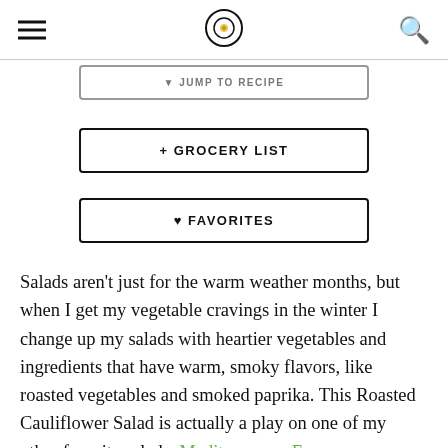[Figure (other): Navigation button: JUMP TO RECIPE with download/arrow icon]
[Figure (other): + GROCERY LIST button]
[Figure (other): ♥ FAVORITES button]
Salads aren't just for the warm weather months, but when I get my vegetable cravings in the winter I change up my salads with heartier vegetables and ingredients that have warm, smoky flavors, like roasted vegetables and smoked paprika. This Roasted Cauliflower Salad is actually a play on one of my other favorite salads, Mediterranean Farro